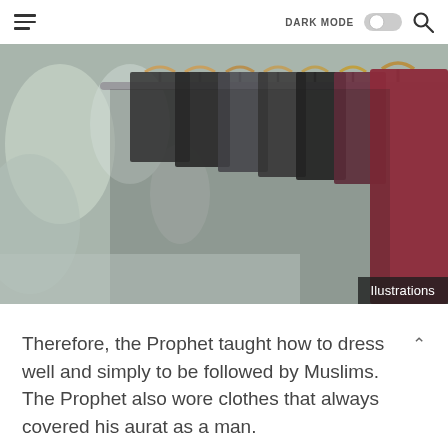DARK MODE [toggle] [search]
[Figure (photo): Close-up photo of clothing hanging on wooden and metal hangers on a clothing rack, with a blurred street background. Various dark, teal, and maroon garments visible.]
Ilustrations
Therefore, the Prophet taught how to dress well and simply to be followed by Muslims. The Prophet also wore clothes that always covered his aurat as a man.